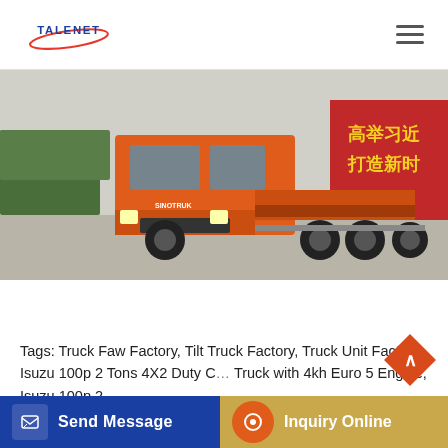TALENET
[Figure (photo): Orange heavy-duty truck (tractor unit) parked in a yard with red banners with Chinese text in the background and green hedges]
Tags: Truck Faw Factory, Tilt Truck Factory, Truck Unit Factory, Isuzu 100p 2 Tons 4X2 Duty C... Truck with 4kh Euro 5 Engine, Isuzu 100p 2
Send Message
Inquiry Online